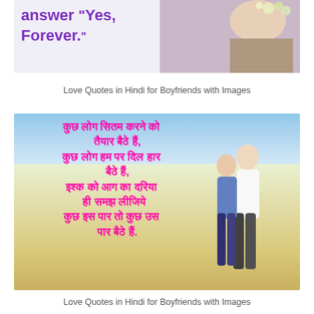[Figure (photo): Top cropped image showing purple bold text quote reading 'answer "Yes, Forever."' overlaid on a light purple/grey background, with a photo of a woman with flowers in her hair on the right side.]
Love Quotes in Hindi for Boyfriends with Images
[Figure (photo): Image of a couple standing in a golden wheat field under a blue sky with clouds, with pink Hindi text overlaid reading: कुछ लोग सितम करने को तैयार बैठे हैं, कुछ लोग हम पर दिल हार बैठे हैं, इश्क को आग का दरिया ही समझ लीजिये कुछ इस पार तो कुछ उस पार बैठे हैं.]
Love Quotes in Hindi for Boyfriends with Images
[Figure (photo): Bottom cropped image showing top of a person's head with pink/red flowers woven into braided hair.]